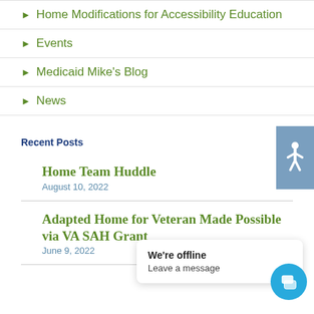Home Modifications for Accessibility Education
Events
Medicaid Mike's Blog
News
Recent Posts
Home Team Huddle
August 10, 2022
Adapted Home for Veteran Made Possible via VA SAH Grant
June 9, 2022
We're offline
Leave a message